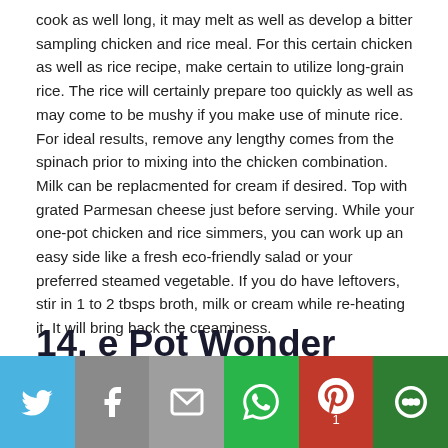cook as well long, it may melt as well as develop a bitter sampling chicken and rice meal. For this certain chicken as well as rice recipe, make certain to utilize long-grain rice. The rice will certainly prepare too quickly as well as may come to be mushy if you make use of minute rice. For ideal results, remove any lengthy comes from the spinach prior to mixing into the chicken combination. Milk can be replacmented for cream if desired. Top with grated Parmesan cheese just before serving. While your one-pot chicken and rice simmers, you can work up an easy side like a fresh eco-friendly salad or your preferred steamed vegetable. If you do have leftovers, stir in 1 to 2 tbsps broth, milk or cream while re-heating it. It will bring back the creaminess.
14. e Pot Wonder Tomato Basil Pasta • Domestic Superhero
[Figure (photo): Partial view of a food photograph showing a dish, cropped at bottom of page]